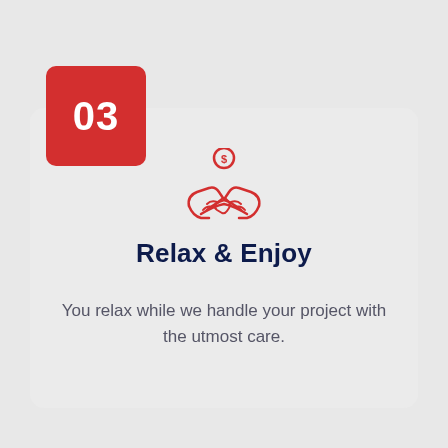03
[Figure (illustration): Red icon of two hands shaking with a dollar coin above, representing a financial deal or partnership]
Relax & Enjoy
You relax while we handle your project with the utmost care.